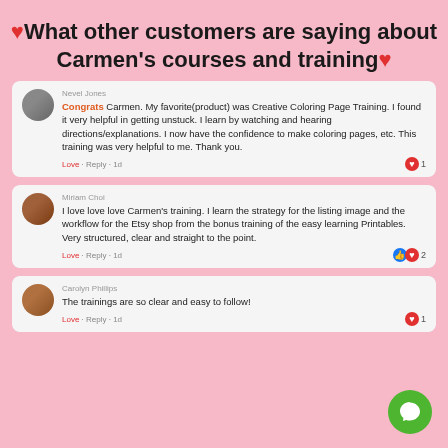❤ What other customers are saying about Carmen's courses and training ❤
Nevel Jones
Congrats Carmen. My favorite(product) was Creative Coloring Page Training. I found it very helpful in getting unstuck. I learn by watching and hearing directions/explanations. I now have the confidence to make coloring pages, etc. This training was very helpful to me. Thank you.
Love · Reply · 1d   ❤ 1
Miriam Choi
I love love love Carmen's training. I learn the strategy for the listing image and the workflow for the Etsy shop from the bonus training of the easy learning Printables. Very structured, clear and straight to the point.
Love · Reply · 1d   👍❤ 2
Carolyn Phillips
The trainings are so clear and easy to follow!
Love · Reply · 1d   ❤ 1